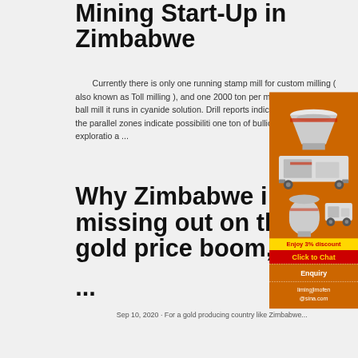Mining Start-Up in Zimbabwe
Currently there is only one running stamp mill for custom milling ( also known as Toll milling ), and one 2000 ton per month ball mill with the ball mill it runs in cyanide solution. Drill reports indicate at least gold, but the parallel zones indicate possibiliti one ton of bullion recently in house exploratio a ...
[Figure (illustration): Advertisement showing mining machinery (crushers, mills) on orange background with discount offer and contact details]
Why Zimbabwe is missing out on the gold price boom, ...
...
Sep 10, 2020 · For a gold producing country like Zimbabwe...